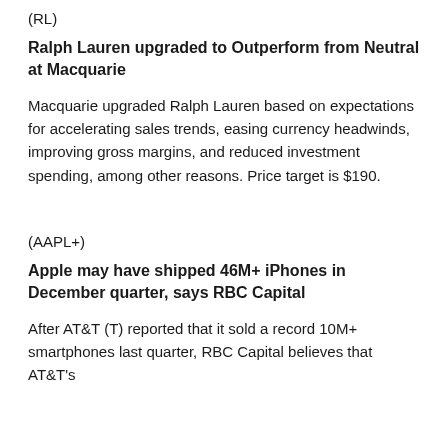(RL)
Ralph Lauren upgraded to Outperform from Neutral at Macquarie
Macquarie upgraded Ralph Lauren based on expectations for accelerating sales trends, easing currency headwinds, improving gross margins, and reduced investment spending, among other reasons. Price target is $190.
(AAPL+)
Apple may have shipped 46M+ iPhones in December quarter, says RBC Capital
After AT&T (T) reported that it sold a record 10M+ smartphones last quarter, RBC Capital believes that AT&T's